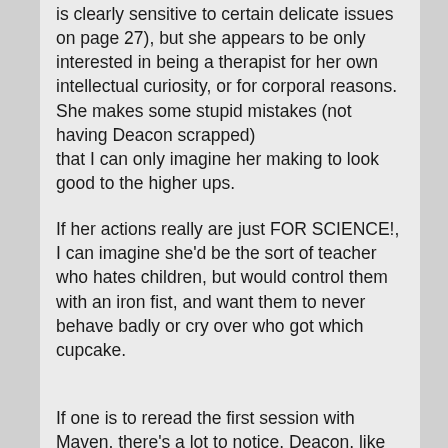is clearly sensitive to certain delicate issues on page 27), but she appears to be only interested in being a therapist for her own intellectual curiosity, or for corporal reasons.
She makes some stupid mistakes (not having Deacon scrapped)
that I can only imagine her making to look good to the higher ups.
If her actions really are just FOR SCIENCE!, I can imagine she'd be the sort of teacher who hates children, but would control them with an iron fist, and want them to never behave badly or cry over who got which cupcake.
If one is to reread the first session with Maven, there's a lot to notice. Deacon, like any good liar, combines reality (his retelling